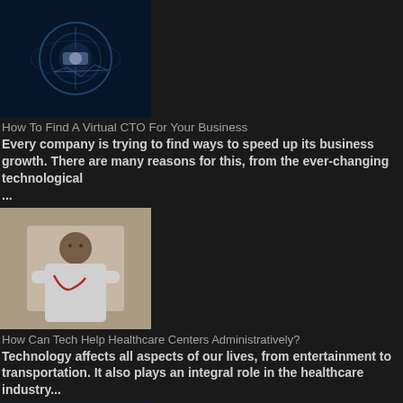[Figure (photo): Technology/digital concept image with glowing orb]
How To Find A Virtual CTO For Your Business
Every company is trying to find ways to speed up its business growth. There are many reasons for this, from the ever-changing technological ...
[Figure (photo): Healthcare worker with arms crossed wearing white coat]
How Can Tech Help Healthcare Centers Administratively?
Technology affects all aspects of our lives, from entertainment to transportation. It also plays an integral role in the healthcare industry...
[Figure (logo): Jira logo on dark background with colorful shapes]
How To Monitor Team Efficiency With Time In Status For Jira Cloud
Time In Status By SaaSJet: How Can It Be Helpful For You?  If you work in Jira, you are well aware that a multitasking environment may stifl...